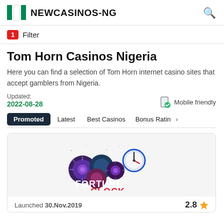NEWCASINOS-NG
1 Filter
Tom Horn Casinos Nigeria
Here you can find a selection of Tom Horn internet casino sites that accept gamblers from Nigeria.
Updated: 2022-08-28
Mobile friendly
Promoted  Latest  Best Casinos  Bonus Rating
[Figure (logo): Fortune Clock casino logo with colorful firework balls and clock graphic]
Launched 30.Nov.2019   2.8 ★